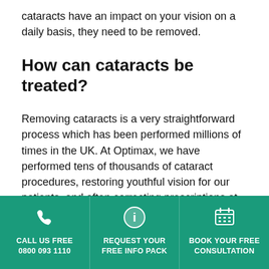cataracts have an impact on your vision on a daily basis, they need to be removed.
How can cataracts be treated?
Removing cataracts is a very straightforward process which has been performed millions of times in the UK. At Optimax, we have performed tens of thousands of cataract procedures, restoring youthful vision for our patients, and often correcting prescriptions at the same time as removing the cataract.
The purpose of cataract surgery is to remove the eye's
CALL US FREE 0800 093 1110 | REQUEST YOUR FREE INFO PACK | BOOK YOUR FREE CONSULTATION